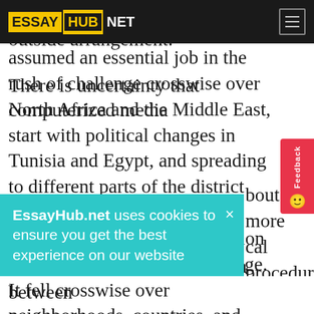ESSAYHUB.NET
relations and creating sound outside arrangement. There is uncertainty that computerized media assumed an essential job in the rush of challenge crosswise over North Africa and the Middle East, start with political changes in Tunisia and Egypt, and spreading to different parts of the district including Libya, Yemen, and Syria. The élan of transformation was not contained by state fringe. It fell crosswise over neighborhoods, countries, and landmasses. Distinctive complaints were clearly vital in better places, yet similarly as clear correspondence advances, for example, Twitter and Facebook, enhanced the disease. But then, as the supporters of this exceptional issue clarify, about the more cal procedures at work. There is an assocation between
EssayHub.net uses cookies to ensure you get the best experience on our website